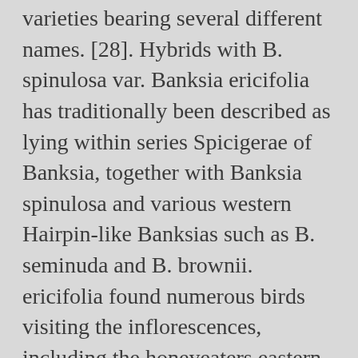varieties bearing several different names. [28]. Hybrids with B. spinulosa var. Banksia ericifolia has traditionally been described as lying within series Spicigerae of Banksia, together with Banksia spinulosa and various western Hairpin-like Banksias such as B. seminuda and B. brownii. ericifolia found numerous birds visiting the inflorescences, including the honeyeaters eastern spinebill (Acanthorhynchus tenuirostris), white-cheeked honeyeater (Phylidonyris nigra), New Holland honeyeater (Phylidonyris novaehollandiae), white-naped honeyeater (Melithreptus lunatus), yellow-faced honeyeater (Lichenostomus chrysops), red wattlebird (Anthochaera carunculata) and